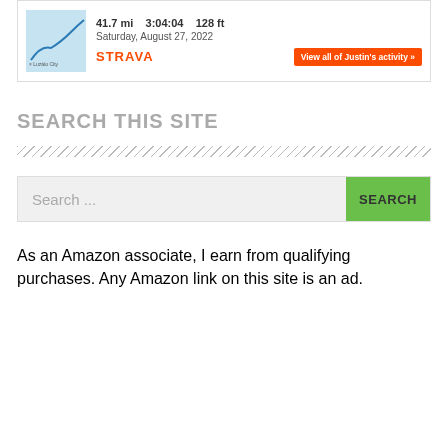[Figure (screenshot): Strava activity widget showing a map thumbnail, stats (41.7 mi, 3:04:04, 128 ft), date Saturday August 27 2022, Strava logo, and orange 'View all of Justin's activity' button]
SEARCH THIS SITE
[Figure (other): Diagonal hatching divider line]
[Figure (screenshot): Search input box with placeholder 'Search ...' and green SEARCH button]
As an Amazon associate, I earn from qualifying purchases. Any Amazon link on this site is an ad.